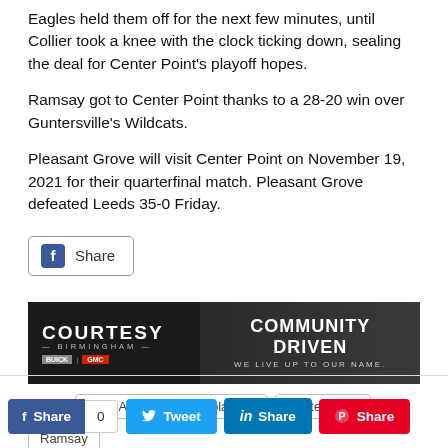Eagles held them off for the next few minutes, until Collier took a knee with the clock ticking down, sealing the deal for Center Point's playoff hopes.
Ramsay got to Center Point thanks to a 28-20 win over Guntersville's Wildcats.
Pleasant Grove will visit Center Point on November 19, 2021 for their quarterfinal match. Pleasant Grove defeated Leeds 35-0 Friday.
[Figure (other): Facebook Share button with 'f' icon and 'Share' text, bordered rounded rectangle]
[Figure (other): Advertisement banner for Courtesy Birmingham Buick GMC dealership with text 'COMMUNITY DRIVEN - WE LIVE UP TO OUR NAME']
Tags: 2021 AHSAA football playoffs   Center Point   Ramsay
[Figure (other): Social share buttons row: Facebook Share (with count 0), Tweet, LinkedIn Share, Pinterest Share]